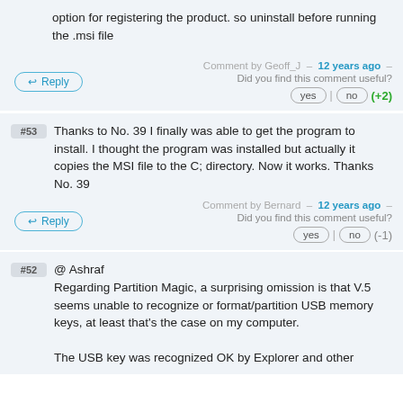option for registering the product. so uninstall before running the .msi file
Comment by Geoff_J – 12 years ago –
Did you find this comment useful?
yes | no (+2)
#53 Thanks to No. 39 I finally was able to get the program to install. I thought the program was installed but actually it copies the MSI file to the C; directory. Now it works. Thanks No. 39
Comment by Bernard – 12 years ago –
Did you find this comment useful?
yes | no (-1)
#52 @ Ashraf
Regarding Partition Magic, a surprising omission is that V.5 seems unable to recognize or format/partition USB memory keys, at least that's the case on my computer.
The USB key was recognized OK by Explorer and other